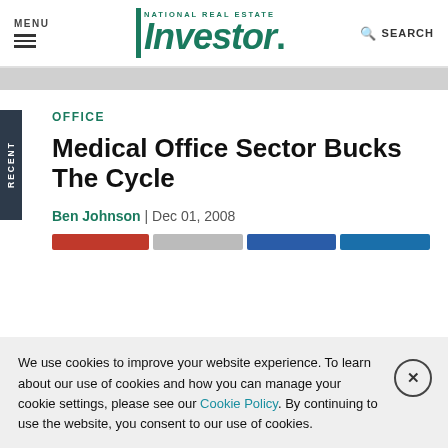MENU | National Real Estate Investor | SEARCH
OFFICE
Medical Office Sector Bucks The Cycle
Ben Johnson | Dec 01, 2008
We use cookies to improve your website experience. To learn about our use of cookies and how you can manage your cookie settings, please see our Cookie Policy. By continuing to use the website, you consent to our use of cookies.